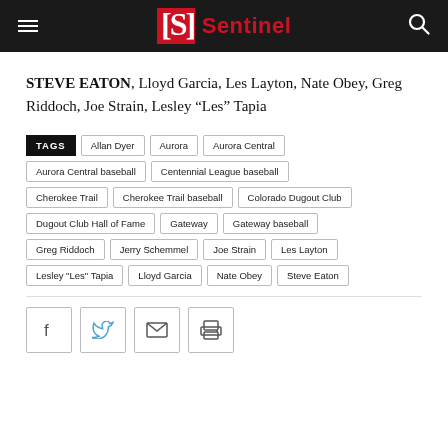Sentinel
STEVE EATON, Lloyd Garcia, Les Layton, Nate Obey, Greg Riddoch, Joe Strain, Lesley “Les” Tapia
TAGS: Allan Dyer, Aurora, Aurora Central, Aurora Central baseball, Centennial League baseball, Cherokee Trail, Cherokee Trail baseball, Colorado Dugout Club, Dugout Club Hall of Fame, Gateway, Gateway baseball, Greg Riddoch, Jerry Schemmel, Joe Strain, Les Layton, Lesley "Les" Tapia, Lloyd Garcia, Nate Obey, Steve Eaton